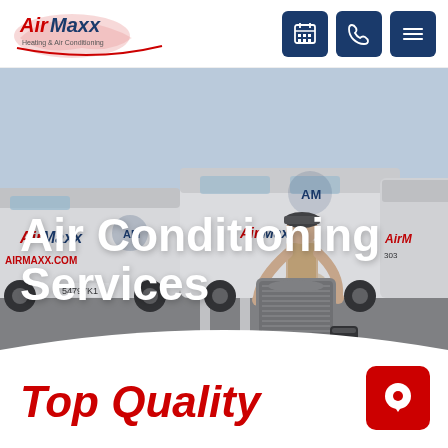AirMaxx Heating & Air Conditioning — navigation header with logo and icons
[Figure (photo): Hero photo of an HVAC technician working on an air conditioning unit in a parking lot surrounded by AirMaxx branded white vans]
Air Conditioning Services
Top Quality